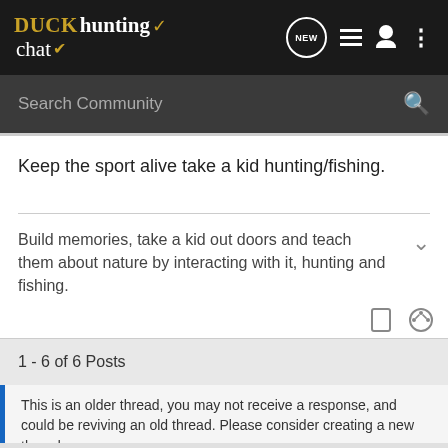DUCK hunting chat - NEW (navigation icons)
Search Community
Keep the sport alive take a kid hunting/fishing.
Build memories, take a kid out doors and teach them about nature by interacting with it, hunting and fishing.
1 - 6 of 6 Posts
This is an older thread, you may not receive a response, and could be reviving an old thread. Please consider creating a new thread.